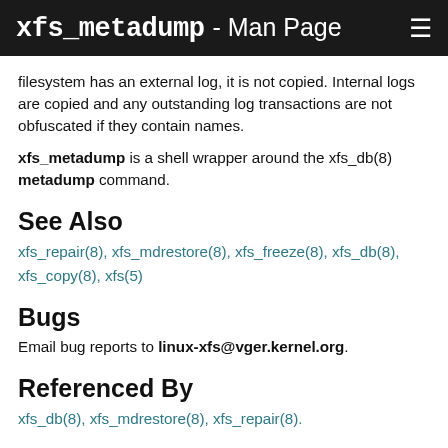xfs_metadump - Man Page
filesystem has an external log, it is not copied. Internal logs are copied and any outstanding log transactions are not obfuscated if they contain names.
xfs_metadump is a shell wrapper around the xfs_db(8) metadump command.
See Also
xfs_repair(8), xfs_mdrestore(8), xfs_freeze(8), xfs_db(8), xfs_copy(8), xfs(5)
Bugs
Email bug reports to linux-xfs@vger.kernel.org.
Referenced By
xfs_db(8), xfs_mdrestore(8), xfs_repair(8).